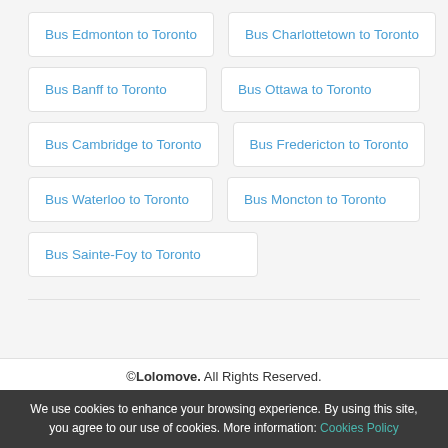Bus Edmonton to Toronto
Bus Charlottetown to Toronto
Bus Banff to Toronto
Bus Ottawa to Toronto
Bus Cambridge to Toronto
Bus Fredericton to Toronto
Bus Waterloo to Toronto
Bus Moncton to Toronto
Bus Sainte-Foy to Toronto
©Lolomove. All Rights Reserved.
We use cookies to enhance your browsing experience. By using this site, you agree to our use of cookies. More information: Cookies Policy